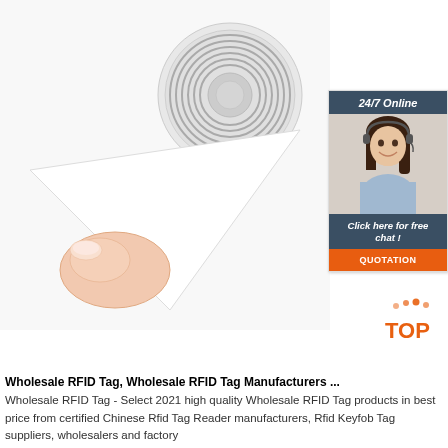[Figure (photo): Close-up photo of a hand peeling back an RFID tag sticker revealing circular antenna coil, white background]
[Figure (infographic): Sidebar widget with dark blue header '24/7 Online', photo of female customer service agent with headset, text 'Click here for free chat!', and orange button 'QUOTATION']
[Figure (logo): TOP logo with orange text and dot pattern above]
Wholesale RFID Tag, Wholesale RFID Tag Manufacturers ...
Wholesale RFID Tag - Select 2021 high quality Wholesale RFID Tag products in best price from certified Chinese Rfid Tag Reader manufacturers, Rfid Keyfob Tag suppliers, wholesalers and factory